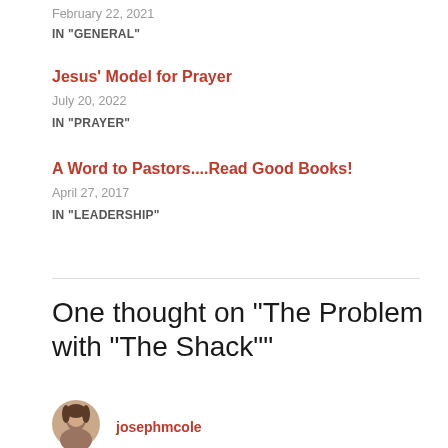February 22, 2021
IN "GENERAL"
Jesus' Model for Prayer
July 20, 2022
IN "PRAYER"
A Word to Pastors....Read Good Books!
April 27, 2017
IN "LEADERSHIP"
One thought on “The Problem with “The Shack””
josephmcole